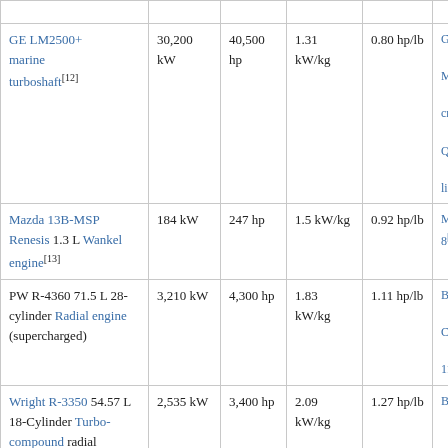| Engine | Power (kW) | Power (hp) | Power/mass (kW/kg) | Power/mass (hp/lb) | Notes (partial) |
| --- | --- | --- | --- | --- | --- |
| GE LM2500+ marine turboshaft[12] | 30,200 kW | 40,500 hp | 1.31 kW/kg | 0.80 hp/lb | G… M… cr… Q… li… |
| Mazda 13B-MSP Renesis 1.3 L Wankel engine[13] | 184 kW | 247 hp | 1.5 kW/kg | 0.92 hp/lb | M… 8[… |
| PW R-4360 71.5 L 28-cylinder Radial engine (supercharged) | 3,210 kW | 4,300 hp | 1.83 kW/kg | 1.11 hp/lb | B- C- 11… |
| Wright R-3350 54.57 L 18-Cylinder Turbo-compound radial | 2,535 kW | 3,400 hp | 2.09 kW/kg | 1.27 hp/lb | B-… |